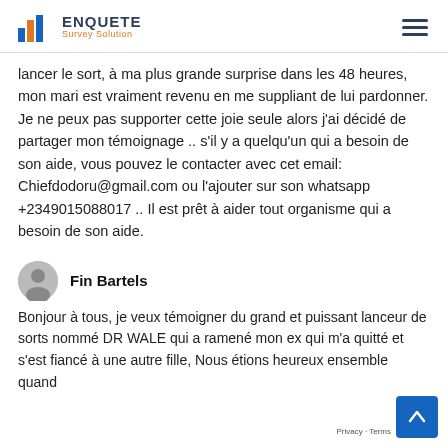ENQUETE Survey Solution
lancer le sort, à ma plus grande surprise dans les 48 heures, mon mari est vraiment revenu en me suppliant de lui pardonner. Je ne peux pas supporter cette joie seule alors j'ai décidé de partager mon témoignage .. s'il y a quelqu'un qui a besoin de son aide, vous pouvez le contacter avec cet email: Chiefdodoru@gmail.com ou l'ajouter sur son whatsapp +2349015088017 .. Il est prêt à aider tout organisme qui a besoin de son aide.
Fin Bartels
Bonjour à tous, je veux témoigner du grand et puissant lanceur de sorts nommé DR WALE qui a ramené mon ex qui m'a quitté et s'est fiancé à une autre fille, Nous étions heureux ensemble quand